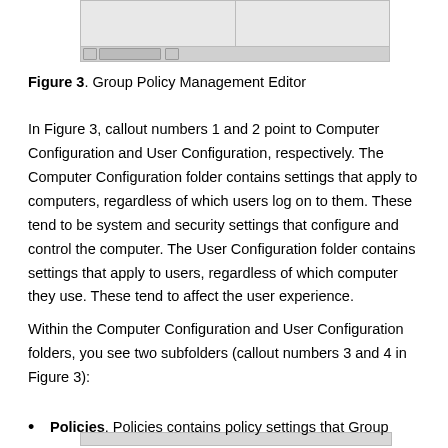[Figure (screenshot): Group Policy Management Editor screenshot fragment showing a split-pane window with scroll bars and status bar]
Figure 3. Group Policy Management Editor
In Figure 3, callout numbers 1 and 2 point to Computer Configuration and User Configuration, respectively. The Computer Configuration folder contains settings that apply to computers, regardless of which users log on to them. These tend to be system and security settings that configure and control the computer. The User Configuration folder contains settings that apply to users, regardless of which computer they use. These tend to affect the user experience.
Within the Computer Configuration and User Configuration folders, you see two subfolders (callout numbers 3 and 4 in Figure 3):
Policies. Policies contains policy settings that Group